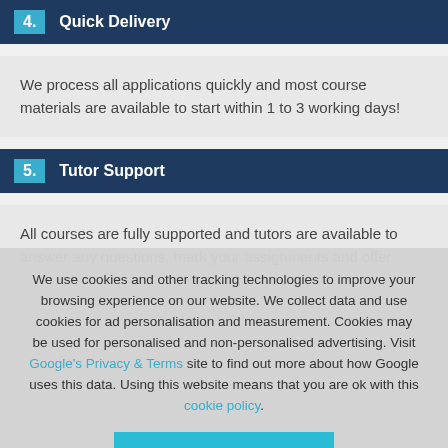4. Quick Delivery
We process all applications quickly and most course materials are available to start within 1 to 3 working days!
5. Tutor Support
All courses are fully supported and tutors are available to answer any questions, mark your assignments and offer
We use cookies and other tracking technologies to improve your browsing experience on our website. We collect data and use cookies for ad personalisation and measurement. Cookies may be used for personalised and non-personalised advertising. Visit Google's Privacy & Terms site to find out more about how Google uses this data. Using this website means that you are ok with this cookie policy.
Accept & Close